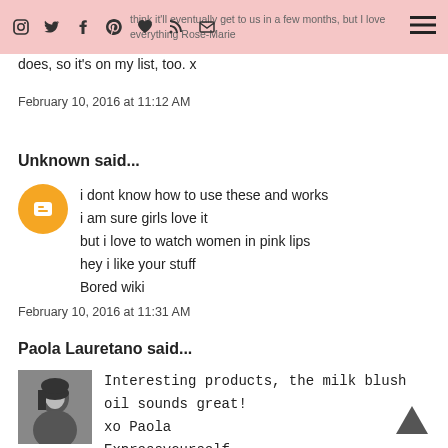Very curious about the cleanser and yes, cannot wait to try it here…think it'll eventually get to us in a few months, but I love everything Rose-Marie does, so it's on my list, too. x
does, so it's on my list, too. x
February 10, 2016 at 11:12 AM
Unknown said...
i dont know how to use these and works
i am sure girls love it
but i love to watch women in pink lips
hey i like your stuff
Bored wiki
February 10, 2016 at 11:31 AM
Paola Lauretano said...
Interesting products, the milk blush oil sounds great!
xo Paola
Expressyourself
My Facebook